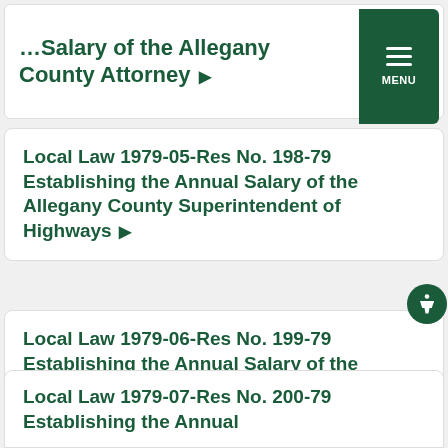Salary of the Allegany County Attorney ▶
Local Law 1979-05-Res No. 198-79 Establishing the Annual Salary of the Allegany County Superintendent of Highways ▶
Local Law 1979-06-Res No. 199-79 Establishing the Annual Salary of the Allegany County Commissioner of Social Services ▶
Local Law 1979-07-Res No. 200-79 Establishing the Annual